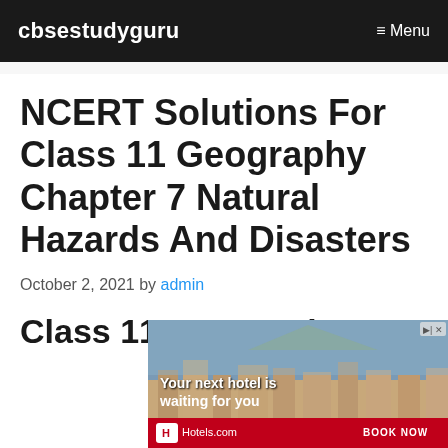cbsestudyguru   ≡ Menu
NCERT Solutions For Class 11 Geography Chapter 7 Natural Hazards And Disasters
October 2, 2021 by admin
Class 11 Geography
[Figure (other): Advertisement banner for Hotels.com showing a hotel cityscape with text 'Your next hotel is waiting for you' and a 'BOOK NOW' button]